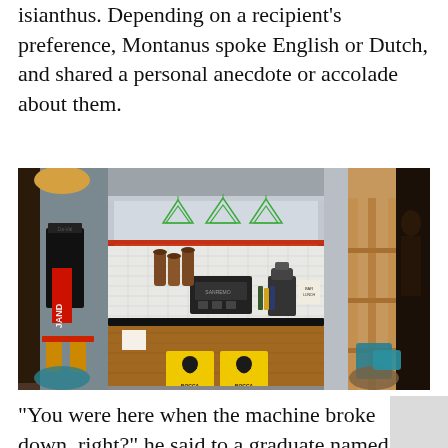isianthus. Depending on a recipient's preference, Montanus spoke English or Dutch, and shared a personal anecdote or accolade about them.
[Figure (photo): Interior of a coffee bar with wooden counter, espresso machines, yellow Bocca coffee bags, green geometric pendant lights hanging from metal shelving, tiled back wall, and seating areas with teal cushions and colorful furniture.]
"You were here when the machine broke down, right?" he said to a graduate named Kosai. "He lifted up the cover of the